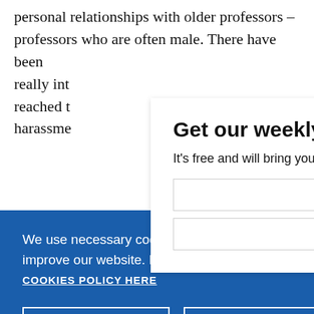personal relationships with older professors – professors who are often male. There have been really int... reached t... harassme...
Get our weekly email
It's free and will bring you the best from
We use necessary cookies that allow our site to work. We also set optional cookies that help us improve our website. For more information about the types of cookies we use. READ OUR COOKIES POLICY HERE
COOKIE SETTINGS
ALLOW ALL COOKIES
data.